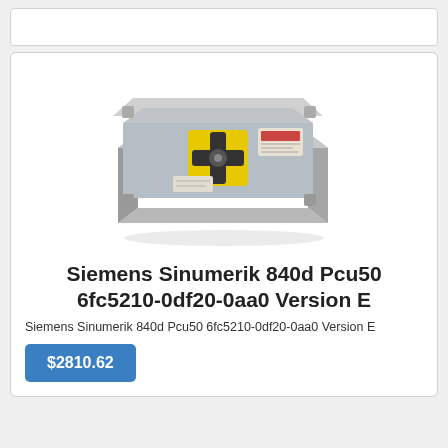[Figure (photo): Photo of a Siemens Sinumerik 840d Pcu50 industrial computer unit, viewed from above/angle, showing a silver metal chassis with a yellow fan/motor component in the center and black mounting brackets.]
Siemens Sinumerik 840d Pcu50 6fc5210-0df20-0aa0 Version E
Siemens Sinumerik 840d Pcu50 6fc5210-0df20-0aa0 Version E
$2810.62